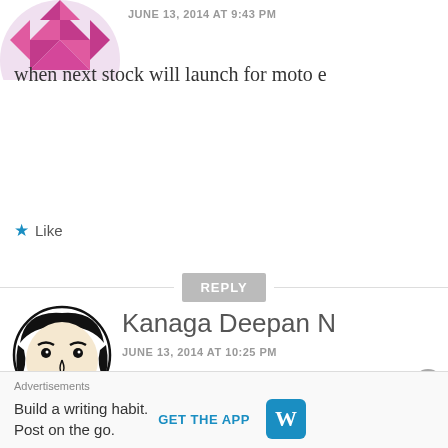[Figure (illustration): Partial pink geometric/mosaic avatar at top left, cropped]
JUNE 13, 2014 AT 9:43 PM
when next stock will launch for moto e
Like
REPLY
[Figure (illustration): Manga-style face illustration with mustache and JUJOM text label]
Kanaga Deepan N
JUNE 13, 2014 AT 10:25 PM
OUTTA STOCK AGAIN.... WTF Flipkart? Why don't you give more order fo
Advertisements
Build a writing habit. Post on the go.
GET THE APP